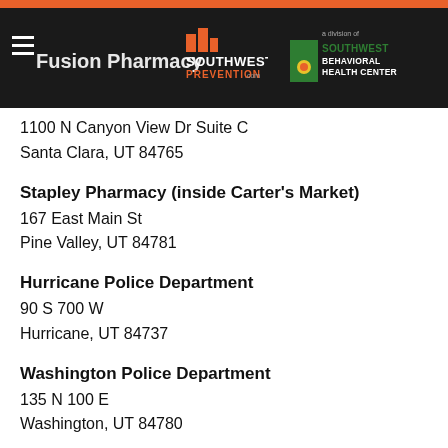Southwest Prevention / Southwest Behavioral Health Center
Fusion Pharmacy
1100 N Canyon View Dr Suite C
Santa Clara, UT 84765
Stapley Pharmacy (inside Carter's Market)
167 East Main St
Pine Valley, UT 84781
Hurricane Police Department
90 S 700 W
Hurricane, UT 84737
Washington Police Department
135 N 100 E
Washington, UT 84780
Washington County Sheriff's Office
490 S 5000 W